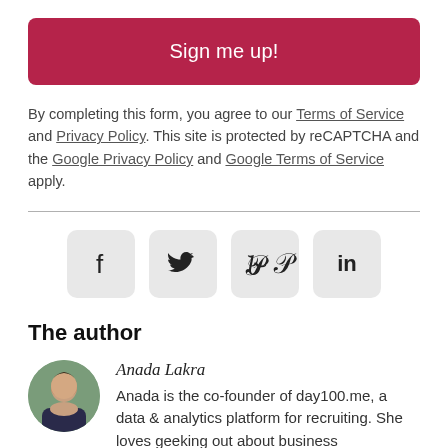[Figure (other): Sign me up! button — crimson/dark-red rounded rectangle button with white text]
By completing this form, you agree to our Terms of Service and Privacy Policy. This site is protected by reCAPTCHA and the Google Privacy Policy and Google Terms of Service apply.
[Figure (other): Social media share icons: Facebook (f), Twitter (bird), Pinterest (P), LinkedIn (in) — each in a light grey rounded square]
The author
[Figure (photo): Circular avatar photo of Anada Lakra — a woman with dark hair against an outdoor background]
Anada Lakra
Anada is the co-founder of day100.me, a data & analytics platform for recruiting. She loves geeking out about business